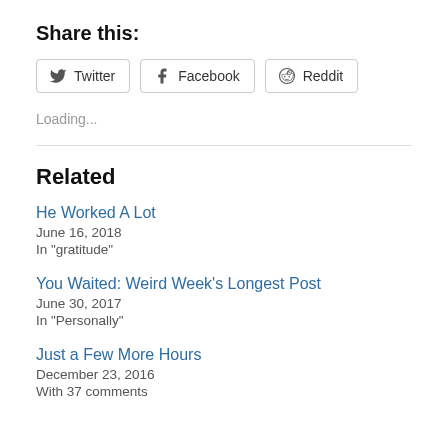Share this:
Twitter  Facebook  Reddit
Loading...
Related
He Worked A Lot
June 16, 2018
In "gratitude"
You Waited: Weird Week's Longest Post
June 30, 2017
In "Personally"
Just a Few More Hours
December 23, 2016
With 37 comments